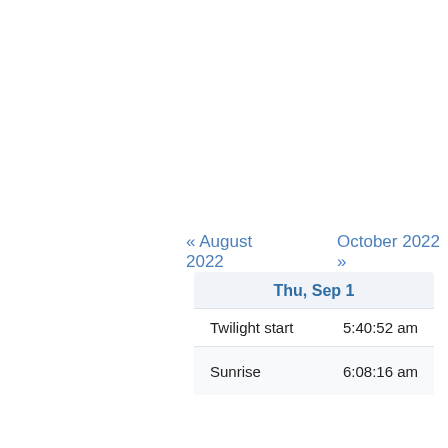« August 2022    October 2022 »
| Thu, Sep 1 |  |
| --- | --- |
| Twilight start | 5:40:52 am |
| Sunrise | 6:08:16 am |